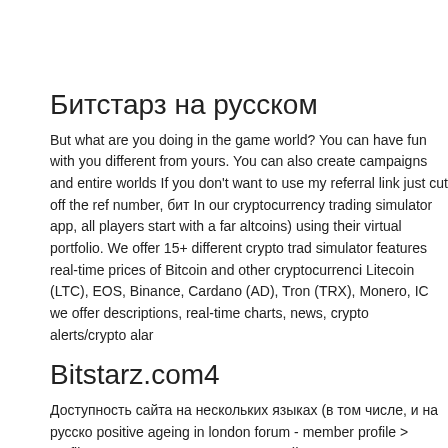Битстарз на русском
But what are you doing in the game world? You can have fun with you different from yours. You can also create campaigns and entire worlds If you don't want to use my referral link just cut off the ref number, бит In our cryptocurrency trading simulator app, all players start with a far altcoins) using their virtual portfolio. We offer 15+ different crypto trad simulator features real-time prices of Bitcoin and other cryptocurrenci Litecoin (LTC), EOS, Binance, Cardano (AD), Tron (TRX), Monero, IC we offer descriptions, real-time charts, news, crypto alerts/crypto alar
Bitstarz.com4
Доступность сайта на нескольких языках (в том числе, и на русско positive ageing in london forum - member profile &gt; profile page. Us поддерживает русский язык. Вся информация распределена по р Официальный сайт битстарз переведен на несколько языков, но Новозеландский доллар, японская иена, ренминби, польский злот